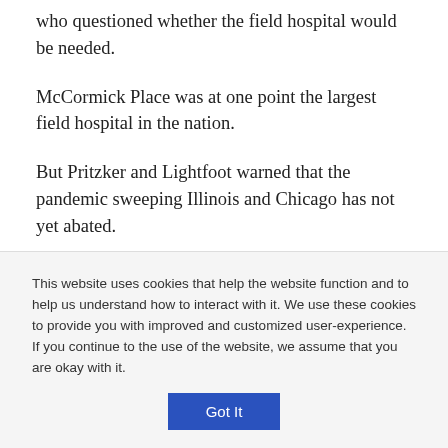who questioned whether the field hospital would be needed.
McCormick Place was at one point the largest field hospital in the nation.
But Pritzker and Lightfoot warned that the pandemic sweeping Illinois and Chicago has not yet abated.
“While this marks a critical moment and a large step forward in our collective fight against COVID-19, we
This website uses cookies that help the website function and to help us understand how to interact with it. We use these cookies to provide you with improved and customized user-experience. If you continue to the use of the website, we assume that you are okay with it.
Got It